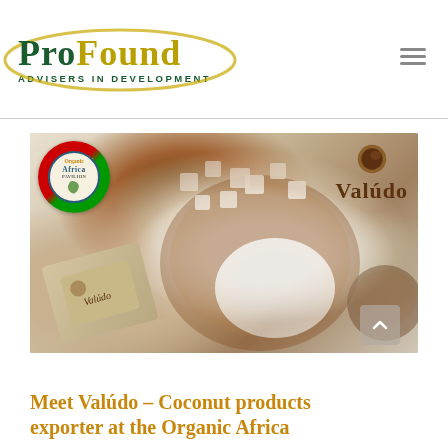[Figure (logo): ProFound – Advisers In Development logo with green and gold oval]
[Figure (photo): Coconut products photo with Sao Tome flag badge, Organic Africa Pavilion badge, Valudo brand logo, coconut flesh and Valudo soap product]
Meet Valúdo – Coconut products exporter at the Organic Africa